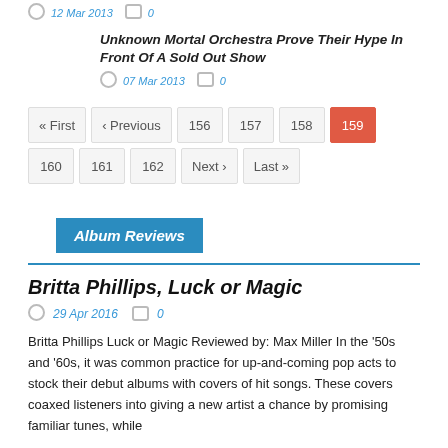12 Mar 2013   0
Unknown Mortal Orchestra Prove Their Hype In Front Of A Sold Out Show
07 Mar 2013   0
« First  ‹ Previous  156  157  158  159  160  161  162  Next ›  Last »
Album Reviews
Britta Phillips, Luck or Magic
29 Apr 2016   0
Britta Phillips Luck or Magic Reviewed by: Max Miller In the '50s and '60s, it was common practice for up-and-coming pop acts to stock their debut albums with covers of hit songs. These covers coaxed listeners into giving a new artist a chance by promising familiar tunes, while